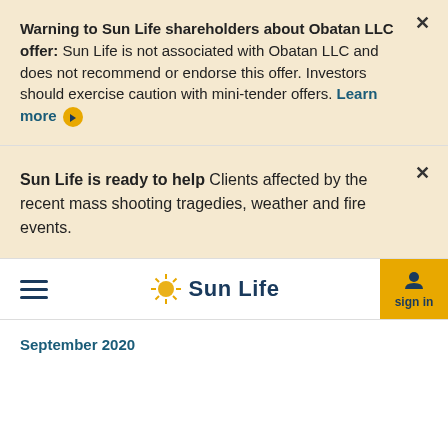Warning to Sun Life shareholders about Obatan LLC offer: Sun Life is not associated with Obatan LLC and does not recommend or endorse this offer. Investors should exercise caution with mini-tender offers. Learn more ▶
Sun Life is ready to help Clients affected by the recent mass shooting tragedies, weather and fire events.
[Figure (logo): Sun Life logo with sunburst icon and hamburger menu navigation bar with sign in button]
September 2020